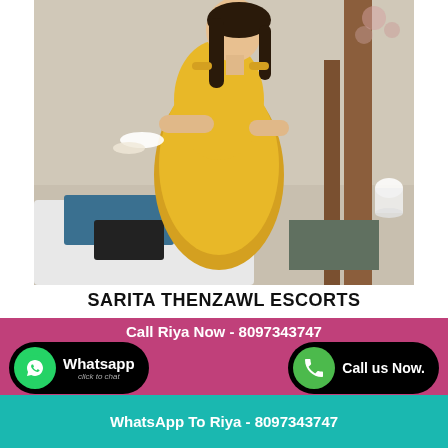[Figure (photo): A woman in a yellow salwar kameez sitting on a bed in a room, with clothes and food items nearby.]
SARITA THENZAWL ESCORTS
Call Riya Now - 8097343747
Whatsapp
click to chat
Call us Now.
WhatsApp To Riya - 8097343747